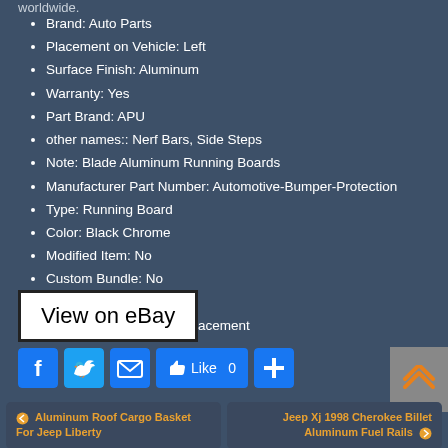worldwide.
Brand: Auto Parts
Placement on Vehicle: Left
Surface Finish: Aluminum
Warranty: Yes
Part Brand: APU
other names:: Nerf Bars, Side Steps
Note: Blade Aluminum Running Boards
Manufacturer Part Number: Automotive-Bumper-Protection
Type: Running Board
Color: Black Chrome
Modified Item: No
Custom Bundle: No
Material: Aluminum
Fitment Type: Direct Replacement
View on eBay
Aluminum Roof Cargo Basket For Jeep Liberty
Jeep Xj 1998 Cherokee Billet Aluminum Fuel Rails